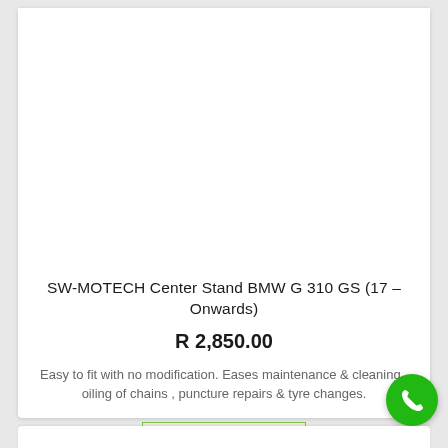[Figure (photo): Product image area (white/empty) for SW-MOTECH Center Stand BMW G 310 GS]
SW-MOTECH Center Stand BMW G 310 GS (17 – Onwards)
R 2,850.00
Easy to fit with no modification. Eases maintenance & cleaning , oiling of chains , puncture repairs & tyre changes.
READ MORE